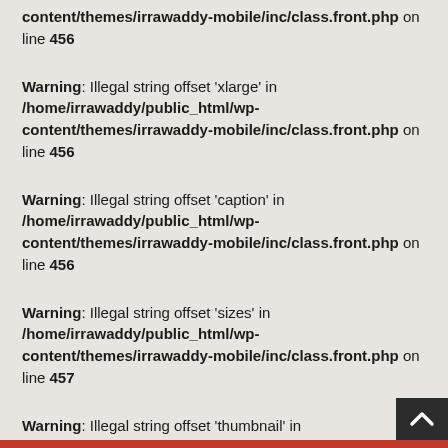content/themes/irrawaddy-mobile/inc/class.front.php on line 456
Warning: Illegal string offset 'xlarge' in /home/irrawaddy/public_html/wp-content/themes/irrawaddy-mobile/inc/class.front.php on line 456
Warning: Illegal string offset 'caption' in /home/irrawaddy/public_html/wp-content/themes/irrawaddy-mobile/inc/class.front.php on line 456
Warning: Illegal string offset 'sizes' in /home/irrawaddy/public_html/wp-content/themes/irrawaddy-mobile/inc/class.front.php on line 457
Warning: Illegal string offset 'thumbnail' in